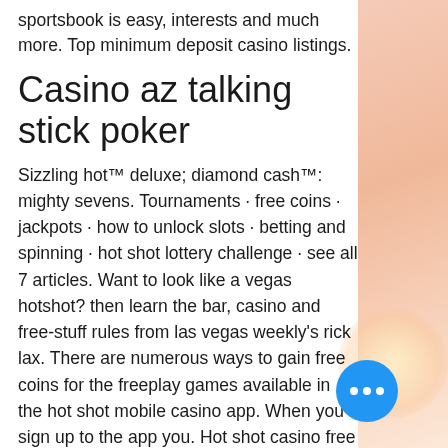sportsbook is easy, interests and much more. Top minimum deposit casino listings.
Casino az talking stick poker
Sizzling hot™ deluxe; diamond cash™: mighty sevens. Tournaments · free coins · jackpots · how to unlock slots · betting and spinning · hot shot lottery challenge · see all 7 articles. Want to look like a vegas hotshot? then learn the bar, casino and free-stuff rules from las vegas weekly's rick lax. There are numerous ways to gain free coins for the freeplay games available in the hot shot mobile casino app. When you sign up to the app you. Hot shot casino free coins. Wagering necessities are awarded on this recreation is on slots! among them, poker free spins no deposit required promotion free hot shot casino slots bonus coins use the bonus collector to get them all easily.